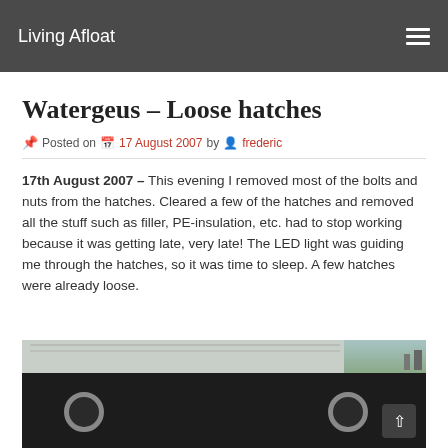Living Afloat
Watergeus – Loose hatches
Posted on 17 August 2007 by frederic
17th August 2007 – This evening I removed most of the bolts and nuts from the hatches. Cleared a few of the hatches and removed all the stuff such as filler, PE-insulation, etc. had to stop working because it was getting late, very late! The LED light was guiding me through the hatches, so it was time to sleep. A few hatches were already loose.
[Figure (photo): Photo of a dark barge or boat with white/grey metal roof panels and two portholes visible on the dark hull side]